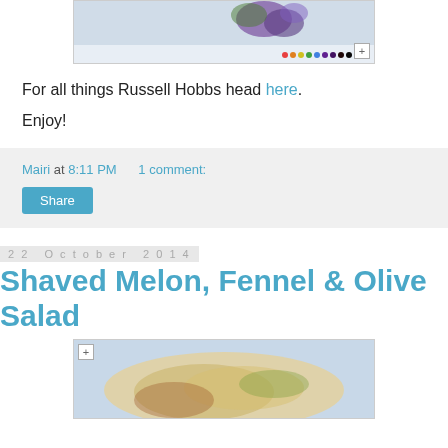[Figure (photo): Partial view of a food/flower photo inside a web browser image frame with colored dots and a plus button]
For all things Russell Hobbs head here.
Enjoy!
Mairi at 8:11 PM    1 comment:
Share
22 October 2014
Shaved Melon, Fennel & Olive Salad
[Figure (photo): Food photo of a shaved melon, fennel and olive salad in a web browser image frame]